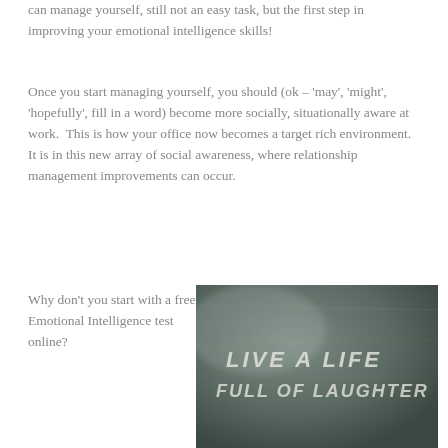can manage yourself, still not an easy task, but the first step in improving your emotional intelligence skills!
Once you start managing yourself, you should (ok – 'may', 'might', 'hopefully', fill in a word) become more socially, situationally aware at work.  This is how your office now becomes a target rich environment.  It is in this new array of social awareness, where relationship management improvements can occur.
Why don't you start with a free Emotional Intelligence test online?
[Figure (photo): Chalkboard with white handwritten text reading 'LIVE A LIFE FULL OF LAUGHTER']